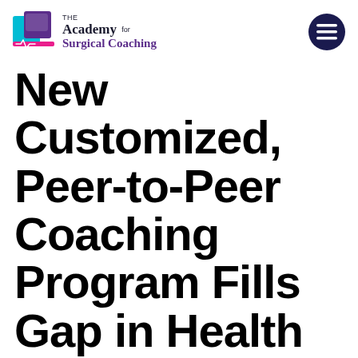The Academy for Surgical Coaching
New Customized, Peer-to-Peer Coaching Program Fills Gap in Health and Wellness Intervention for